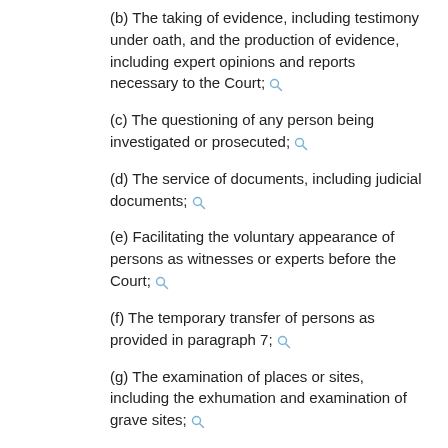(b) The taking of evidence, including testimony under oath, and the production of evidence, including expert opinions and reports necessary to the Court;
(c) The questioning of any person being investigated or prosecuted;
(d) The service of documents, including judicial documents;
(e) Facilitating the voluntary appearance of persons as witnesses or experts before the Court;
(f) The temporary transfer of persons as provided in paragraph 7;
(g) The examination of places or sites, including the exhumation and examination of grave sites;
(h) The execution of searches and seizures;
(i) The provision of records and documents, including official records and documents;
(j) The protection of victims and witnesses and the preservation of evidence;